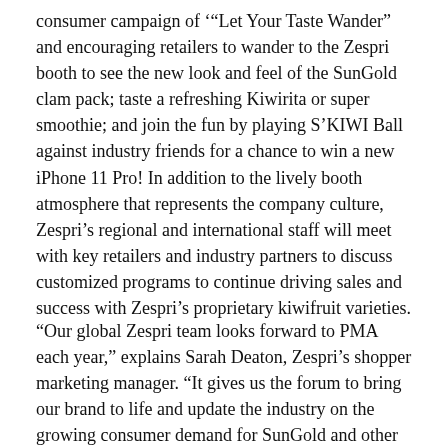consumer campaign of '"Let Your Taste Wander" and encouraging retailers to wander to the Zespri booth to see the new look and feel of the SunGold clam pack; taste a refreshing Kiwirita or super smoothie; and join the fun by playing S'KIWI Ball against industry friends for a chance to win a new iPhone 11 Pro! In addition to the lively booth atmosphere that represents the company culture, Zespri's regional and international staff will meet with key retailers and industry partners to discuss customized programs to continue driving sales and success with Zespri's proprietary kiwifruit varieties.
“Our global Zespri team looks forward to PMA each year,” explains Sarah Deaton, Zespri’s shopper marketing manager. “It gives us the forum to bring our brand to life and update the industry on the growing consumer demand for SunGold and other varieties as well as the strong marketing investment behind our brand. Our goal is to help retailers and industry partners increase their sales and show them how we are committed to growing the kiwifruit category.”